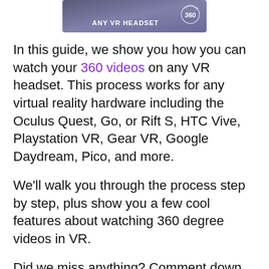[Figure (illustration): Banner image showing a 360-degree VR headset graphic with text 'ANY VR HEADSET' on a purple/grey background with a circular arrow icon showing '360']
In this guide, we show you how you can watch your 360 videos on any VR headset. This process works for any virtual reality hardware including the Oculus Quest, Go, or Rift S, HTC Vive, Playstation VR, Gear VR, Google Daydream, Pico, and more.
We'll walk you through the process step by step, plus show you a few cool features about watching 360 degree videos in VR.
Did we miss anything? Comment down at the bottom of this guide and we'll make sure that we get you the answers you need!